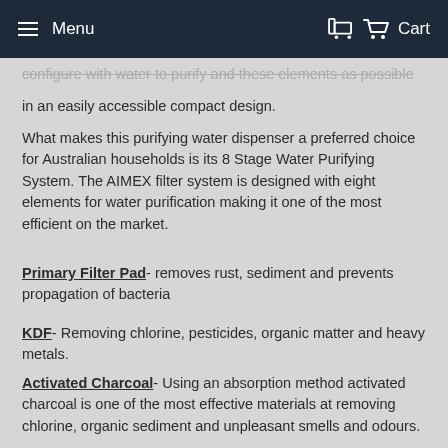Menu   Cart
...configure with water to purify and these elements as possible in an easily accessible compact design.
What makes this purifying water dispenser a preferred choice for Australian households is its 8 Stage Water Purifying System. The AIMEX filter system is designed with eight elements for water purification making it one of the most efficient on the market.
Primary Filter Pad- removes rust, sediment and prevents propagation of bacteria
KDF- Removing chlorine, pesticides, organic matter and heavy metals.
Activated Charcoal- Using an absorption method activated charcoal is one of the most effective materials at removing chlorine, organic sediment and unpleasant smells and odours.
3 Layers of Ceramic Minerals- bringing waters Ph level closer